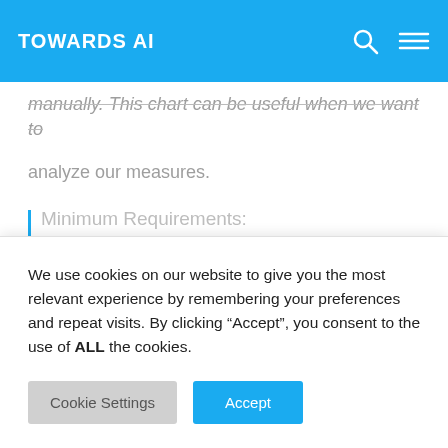TOWARDS AI
manually. This chart can be useful when we want to analyze our measures.
Minimum Requirements:
We use cookies on our website to give you the most relevant experience by remembering your preferences and repeat visits. By clicking “Accept”, you consent to the use of ALL the cookies.